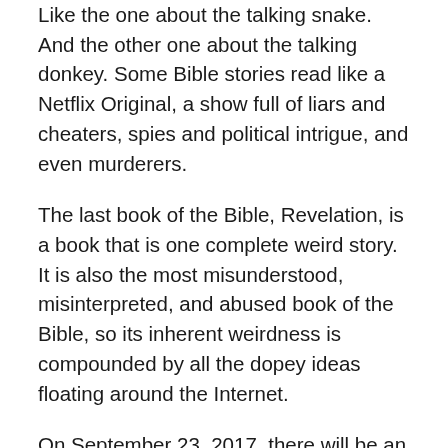Like the one about the talking snake. And the other one about the talking donkey. Some Bible stories read like a Netflix Original, a show full of liars and cheaters, spies and political intrigue, and even murderers.
The last book of the Bible, Revelation, is a book that is one complete weird story. It is also the most misunderstood, misinterpreted, and abused book of the Bible, so its inherent weirdness is compounded by all the dopey ideas floating around the Internet.
On September 23, 2017, there will be an astronomical event that some people think will be a fulfillment of Revelation 12. That chapter is a fascinating chapter in and of itself, and we'll take a very close look at it over the next two studies. But to answer the question of whether or not it will be fulfilled on September 23, 2017, the short answer is: "definitely not". And here's why.